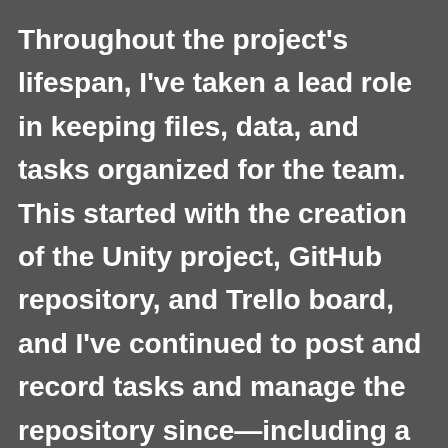Throughout the project's lifespan, I've taken a lead role in keeping files, data, and tasks organized for the team. This started with the creation of the Unity project, GitHub repository, and Trello board, and I've continued to post and record tasks and manage the repository since—including a change midway through to require pull requests and reviews before committing to the master branch. When we published the game on itch.io, we used my account, which has put me in charge of reporting analytic information and distributing funds for the few times people have purchased the game. I've